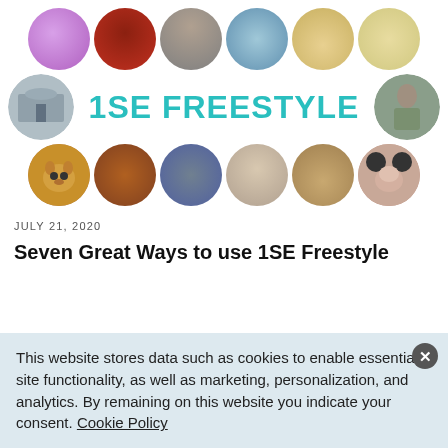[Figure (illustration): A decorative header banner with 14 circular photo thumbnails arranged in 3 rows, and the bold teal text '1SE FREESTYLE' in the center-middle row.]
JULY 21, 2020
Seven Great Ways to use 1SE Freestyle
This website stores data such as cookies to enable essential site functionality, as well as marketing, personalization, and analytics. By remaining on this website you indicate your consent. Cookie Policy